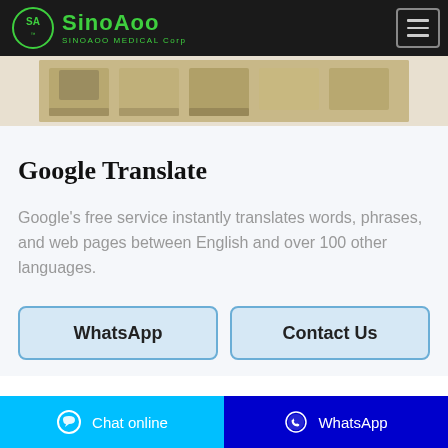SinoAoo Medical Corp
[Figure (photo): Partial view of a warehouse or storage area with wooden pallets and boxes on a light background]
Google Translate
Google's free service instantly translates words, phrases, and web pages between English and over 100 other languages.
WhatsApp
Contact Us
Chat online   WhatsApp